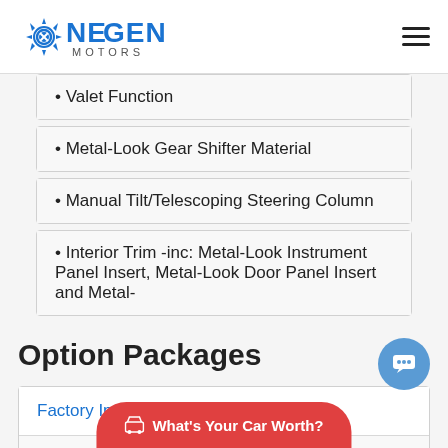NexGen Motors
• Valet Function
• Metal-Look Gear Shifter Material
• Manual Tilt/Telescoping Steering Column
• Interior Trim -inc: Metal-Look Instrument Panel Insert, Metal-Look Door Panel Insert and Metal-
Option Packages
| Factory Installed Packages |
| --- |
What's Your Car Worth?